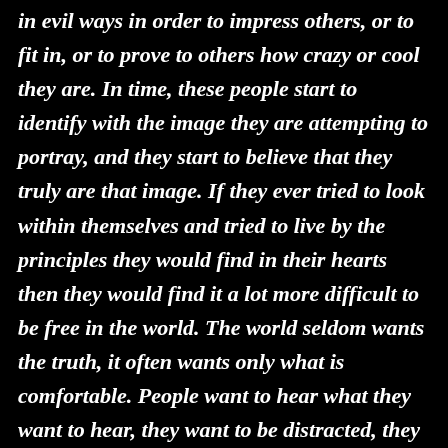in evil ways in order to impress others, or to fit in, or to prove to others how crazy or cool they are. In time, these people start to identify with the image they are attempting to portray, and they start to believe that they truly are that image. If they ever tried to look within themselves and tried to live by the principles they would find in their hearts then they would find it a lot more difficult to be free in the world. The world seldom wants the truth, it often wants only what is comfortable. People want to hear what they want to hear, they want to be distracted, they want to be entertained. Who can be bothered with the truth in this day and age of transitory pleasures? What purpose can the